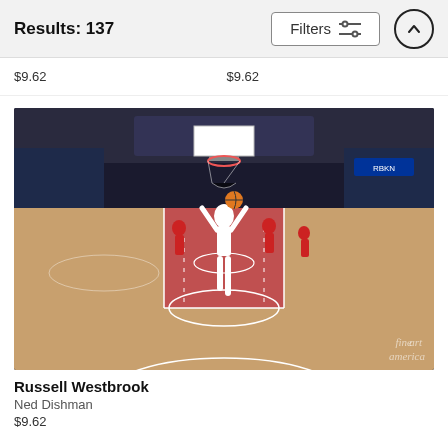Results: 137
$9.62    $9.62
[Figure (photo): Russell Westbrook dunking or shooting at a basketball game, view from below the basket looking up, red court (Washington Wizards arena), crowd visible in background, Fine Art America watermark in bottom right corner.]
Russell Westbrook
Ned Dishman
$9.62